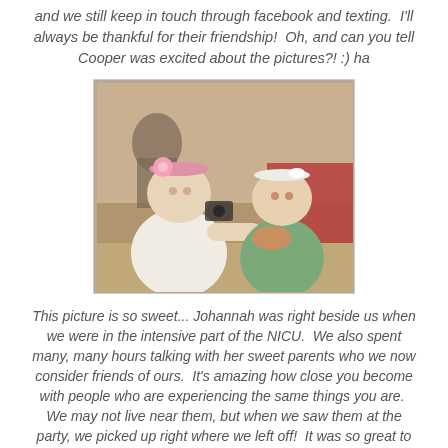and we still keep in touch through facebook and texting.  I'll always be thankful for their friendship!  Oh, and can you tell Cooper was excited about the pictures?! :) ha
[Figure (photo): Two babies facing each other. The baby on the left wears a pink crocheted headband with a large pink flower bow. The baby on the right wears a white crocheted headband with a small white bow and is dressed in a green outfit, being held by an adult. They appear to be meeting at a party.]
This picture is so sweet... Johannah was right beside us when we were in the intensive part of the NICU.  We also spent many, many hours talking with her sweet parents who we now consider friends of ours.  It's amazing how close you become with people who are experiencing the same things you are.  We may not live near them, but when we saw them at the party, we picked up right where we left off!  It was so great to see little Jojo doing so well! :)  AND they like to put fancy bows in her hair, too!! :) ha